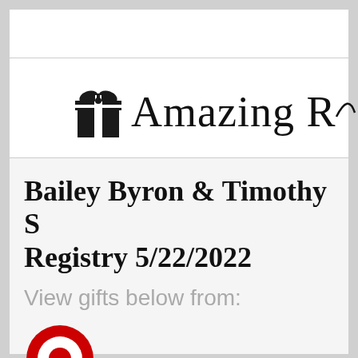[Figure (logo): Amazing Registry logo with gift box icon and cursive 'Amazing R...' text (partially cropped)]
Bailey Byron & Timothy S[...] Registry 5/22/2022
View gifts below from:
[Figure (logo): Target logo (red bullseye, partially cropped at bottom)]